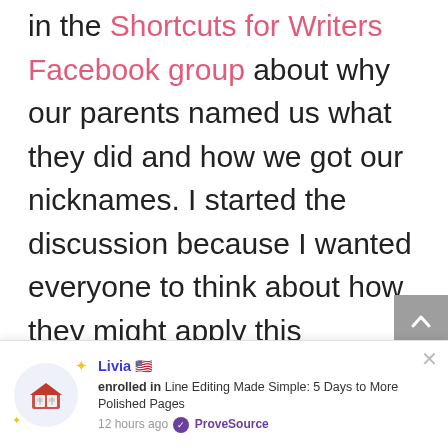in the Shortcuts for Writers Facebook group about why our parents named us what they did and how we got our nicknames. I started the discussion because I wanted everyone to think about how they might apply this question to their characters, especially the most important ones. If you're a member of the group, you can look for it under Characters in the Topics section
[Figure (infographic): Social proof notification bar at the bottom showing a book icon with stars, user name Livia with US flag, enrolled in Line Editing Made Simple: 5 Days to More Polished Pages, 12 hours ago, ProveSource badge, and close X button.]